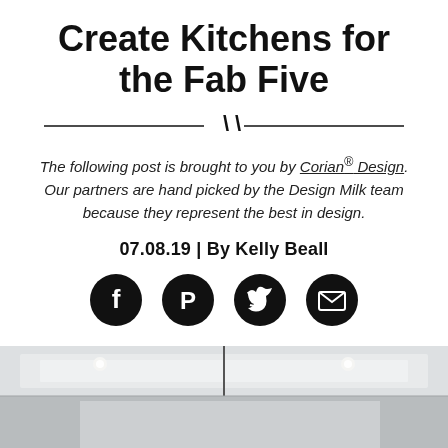Create Kitchens for the Fab Five
The following post is brought to you by Corian® Design. Our partners are hand picked by the Design Milk team because they represent the best in design.
07.08.19 | By Kelly Beall
[Figure (infographic): Social share icons: Facebook, Pinterest, Twitter, Email]
[Figure (photo): Interior photo showing kitchen ceiling with recessed lighting and a pendant light]